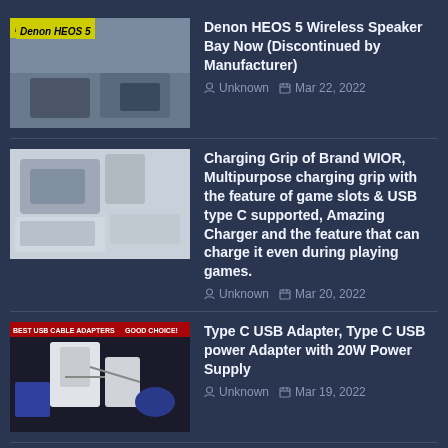[Figure (photo): Denon HEOS 5 wireless speaker product photo with yellow text overlay]
Denon HEOS 5 Wireless Speaker Bay Now (Discontinued by Manufacturer)
Unknown  Mar 22, 2022
[Figure (photo): Charging grip product photo showing device with accessories]
Charging Grip of Brand WIOR, Multipurpose charging grip with the feature of game slots & USB type C supported, Amazing Charger and the feature that can charge it even during playing games.
Unknown  Mar 20, 2022
[Figure (photo): Type C USB Adapter product photo on dark background]
Type C USB Adapter, Type C USB power Adapter with 20W Power Supply
Unknown  Mar 19, 2022
[Figure (photo): M26 Bluetooth earbuds product photo]
M26 Bluetooth V4.1 with the feature of Noise Cancellation Mic-Blue
Unknown  Mar 19, 2022